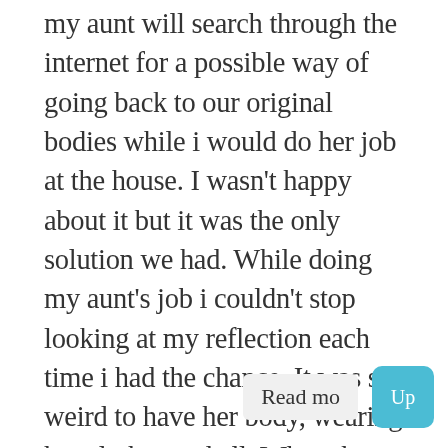my aunt will search through the internet for a possible way of going back to our original bodies while i would do her job at the house. I wasn't happy about it but it was the only solution we had. While doing my aunt's job i couldn't stop looking at my reflection each time i had the chance. It was so weird to have her body, wearing her clothes and all. When the time came i had to prepare dinner. I was a good cook so i managed to make a delicious meal for the three of us. We ate in silence and after we finished i clean the dishes.